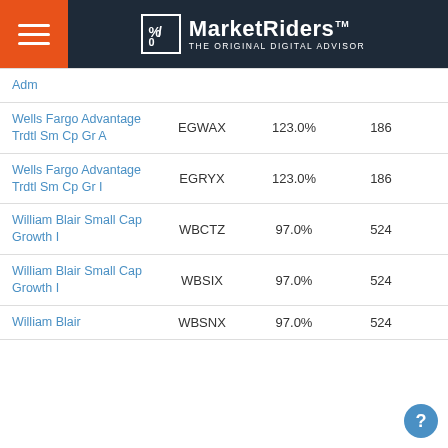MarketRiders THE ORIGINAL DIGITAL ADVISOR
| Fund Name | Ticker | Match | Holdings | Exp Ratio |
| --- | --- | --- | --- | --- |
| Adm |  |  |  |  |
| Wells Fargo Advantage Trdtl Sm Cp Gr A | EGWAX | 123.0% | 186 | 1.33% |
| Wells Fargo Advantage Trdtl Sm Cp Gr I | EGRYX | 123.0% | 186 | 0.98% |
| William Blair Small Cap Growth I | WBCTZ | 97.0% | 524 | 1.25% |
| William Blair Small Cap Growth I | WBSIX | 97.0% | 524 | 1.25% |
| William Blair | WBSNX | 97.0% | 524 | 1.50% |